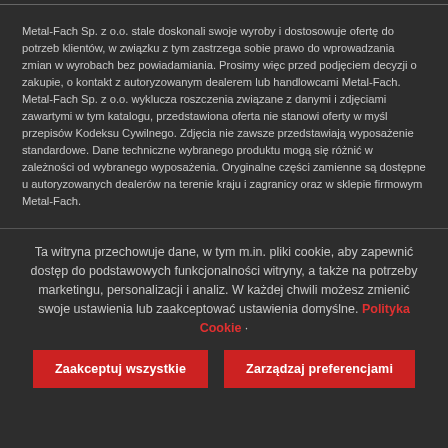Metal-Fach Sp. z o.o. stale doskonali swoje wyroby i dostosowuje ofertę do potrzeb klientów, w związku z tym zastrzega sobie prawo do wprowadzania zmian w wyrobach bez powiadamiania. Prosimy więc przed podjęciem decyzji o zakupie, o kontakt z autoryzowanym dealerem lub handlowcami Metal-Fach. Metal-Fach Sp. z o.o. wyklucza roszczenia związane z danymi i zdjęciami zawartymi w tym katalogu, przedstawiona oferta nie stanowi oferty w myśl przepisów Kodeksu Cywilnego. Zdjęcia nie zawsze przedstawiają wyposażenie standardowe. Dane techniczne wybranego produktu mogą się różnić w zależności od wybranego wyposażenia. Oryginalne części zamienne są dostępne u autoryzowanych dealerów na terenie kraju i zagranicy oraz w sklepie firmowym Metal-Fach.
Ta witryna przechowuje dane, w tym m.in. pliki cookie, aby zapewnić dostęp do podstawowych funkcjonalności witryny, a także na potrzeby marketingu, personalizacji i analiz. W każdej chwili możesz zmienić swoje ustawienia lub zaakceptować ustawienia domyślne. Polityka Cookie ·